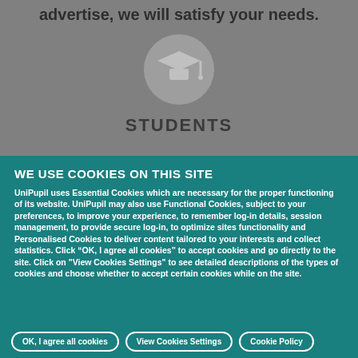advertise, we will satisfy your needs.
[Figure (illustration): Graduation cap icon inside a grey circle]
STUDENTS
WE USE COOKIES ON THIS SITE
UniPupil uses Essential Cookies which are necessary for the proper functioning of its website. UniPupil may also use Functional Cookies, subject to your preferences, to improve your experience, to remember log-in details, session management, to provide secure log-in, to optimize sites functionality and Personalised Cookies to deliver content tailored to your interests and collect statistics. Click “OK, I agree all cookies” to accept cookies and go directly to the site. Click on "View Cookies Settings" to see detailed descriptions of the types of cookies and choose whether to accept certain cookies while on the site.
OK, I agree all cookies
View Cookies Settings
Cookie Policy